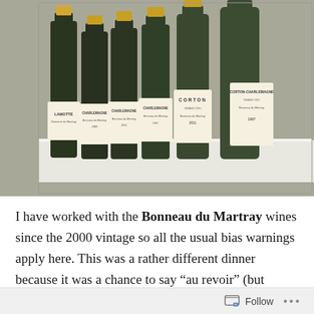[Figure (photo): Six green wine bottles lined up on a white shelf/counter. Bottles have white labels. Visible label text includes: LAMOTTE, CHARLEMAGNE, CHARLEMAGNE, CHARLEMAGNE, CORTON, CORTON-CHARLEMAGNE. Background shows a room interior.]
I have worked with the Bonneau du Martray wines since the 2000 vintage so all the usual bias warnings apply here. This was a rather different dinner because it was a chance to say “au revoir” (but certainly not a full good bye) to Jean-Charles
Follow ···